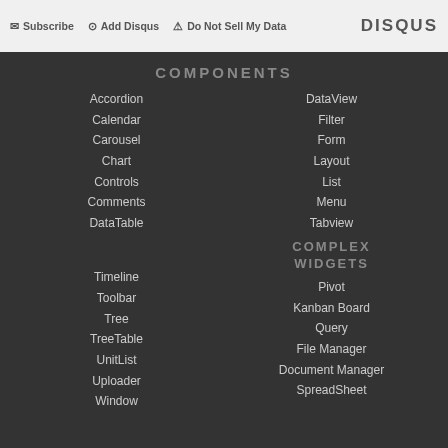Subscribe | Add Disqus | Do Not Sell My Data | DISQUS
COMPONENTS
Accordion
Calendar
Carousel
Chart
Controls
Comments
DataTable
DataView
Filter
Form
Layout
List
Menu
Tabview
Timeline
Toolbar
Tree
TreeTable
UnitList
Uploader
Window
COMPLEX WIDGETS
Pivot
Kanban Board
Query
File Manager
Document Manager
SpreadSheet